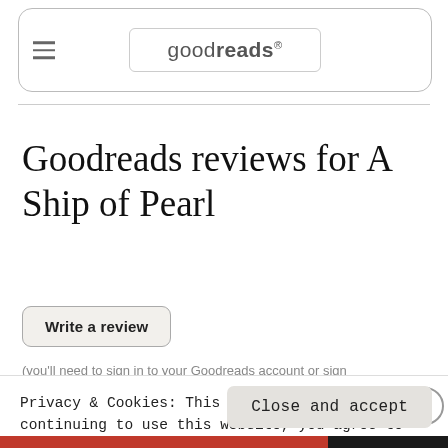[Figure (screenshot): Goodreads website header with hamburger menu icon and goodreads logo in a rounded rectangle input/search box]
Goodreads reviews for A Ship of Pearl
Write a review
(you'll need to sign in to your Goodreads account or sign
Privacy & Cookies: This site uses cookies. By continuing to use this website, you agree to their use. To find out more, including how to control cookies, see here: Cookie Policy
Close and accept